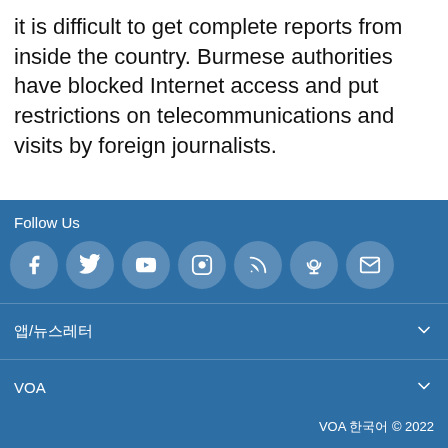it is difficult to get complete reports from inside the country. Burmese authorities have blocked Internet access and put restrictions on telecommunications and visits by foreign journalists.
Follow Us
[Figure (infographic): Social media icons: Facebook, Twitter, YouTube, Instagram, RSS, Podcast, Email — white circles on blue background]
앱/뉴스레터
VOA
VOA 한국어 © 2022